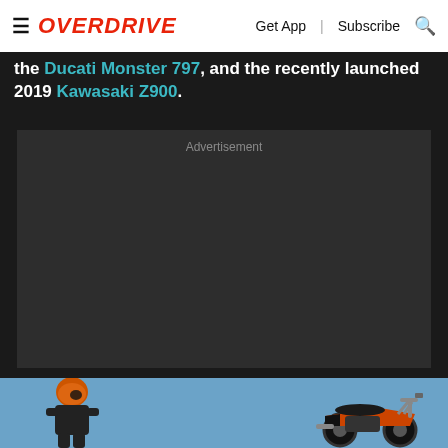OVERDRIVE | Get App | Subscribe
the Ducati Monster 797, and the recently launched 2019 Kawasaki Z900.
[Figure (other): Advertisement placeholder block with dark background and 'Advertisement' label]
[Figure (photo): Photo of a rider in orange helmet and black leather suit standing next to a KTM motorcycle against a blue sky background]